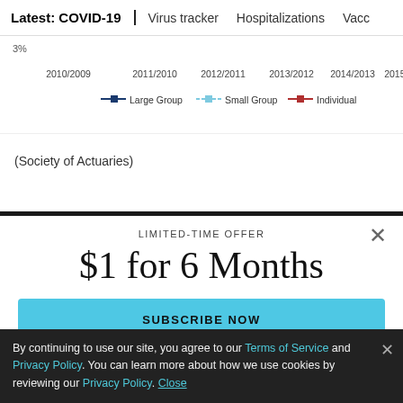Latest: COVID-19 | Virus tracker | Hospitalizations | Vacc...
[Figure (line-chart): Partial line chart showing year-over-year periods from 2010/2009 to 2015/2014 with three series: Large Group (dark blue), Small Group (light blue), and Individual (red). Y-axis label partially visible showing '3%'.]
(Society of Actuaries)
LIMITED-TIME OFFER
$1 for 6 Months
SUBSCRIBE NOW
By continuing to use our site, you agree to our Terms of Service and Privacy Policy. You can learn more about how we use cookies by reviewing our Privacy Policy. Close